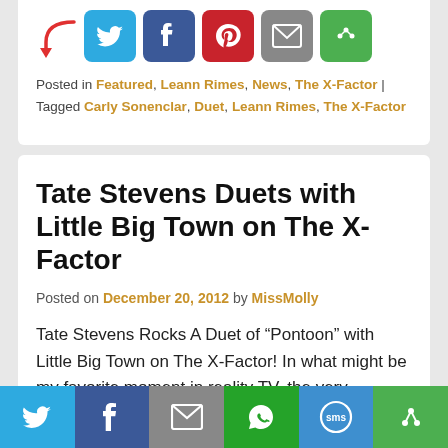[Figure (screenshot): Social sharing buttons row: Twitter (blue), Facebook (dark blue), Pinterest (red), Email (grey), More (green), with a red arrow pointing to them]
Posted in Featured, Leann Rimes, News, The X-Factor | Tagged Carly Sonenclar, Duet, Leann Rimes, The X-Factor
Tate Stevens Duets with Little Big Town on The X-Factor
Posted on December 20, 2012 by MissMolly
Tate Stevens Rocks A Duet of “Pontoon” with Little Big Town on The X-Factor! In what might be my favorite moment in reality TV, the very talented X-Factor contestant Tate Stevens performed one of the hottest country songs of the year, “Pontoon”, with none of
[Figure (screenshot): Bottom share bar with Twitter, Facebook, Email, WhatsApp, SMS, and More buttons]